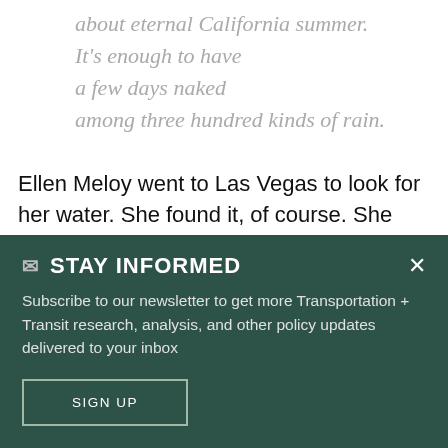about eternal California summer.
It's enough to have
a few days naked
among three hundred kinds of rain.
Ellen Meloy went to Las Vegas to look for her water. She found it, of course. She found basically nothing else to admire. I would have to seek a kinder vision of The Meadows elsewhere. I found it. Ms. Solnit in your 2001
STAY INFORMED
Subscribe to our newsletter to get more Transportation + Transit research, analysis, and other policy updates delivered to your inbox
SIGN UP